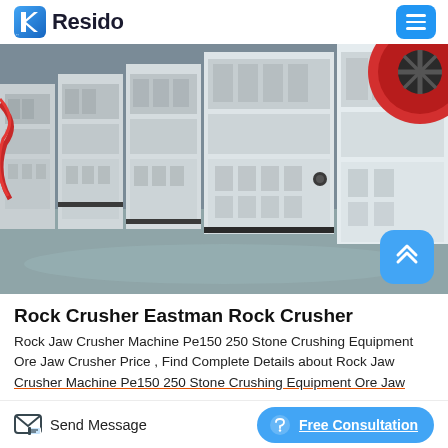Resido
[Figure (photo): Row of large white industrial jaw crusher machines in a factory/warehouse setting. A large red circular flywheel is visible on the right machine. The machines are on a grey floor with industrial equipment in the background.]
Rock Crusher Eastman Rock Crusher
Rock Jaw Crusher Machine Pe150 250 Stone Crushing Equipment Ore Jaw Crusher Price , Find Complete Details about Rock Jaw Crusher Machine Pe150 250 Stone Crushing Equipment Ore Jaw
Send Message   Free Consultation